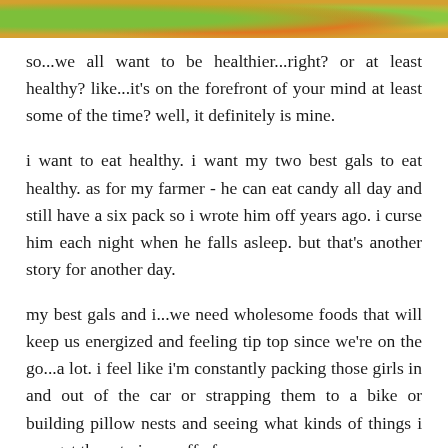[Figure (photo): Colorful vegetables and fruits photo strip at the top of the page, showing greens, oranges, and yellows.]
so...we all want to be healthier...right? or at least healthy? like...it's on the forefront of your mind at least some of the time? well, it definitely is mine.
i want to eat healthy. i want my two best gals to eat healthy. as for my farmer - he can eat candy all day and still have a six pack so i wrote him off years ago. i curse him each night when he falls asleep. but that's another story for another day.
my best gals and i...we need wholesome foods that will keep us energized and feeling tip top since we're on the go...a lot. i feel like i'm constantly packing those girls in and out of the car or strapping them to a bike or building pillow nests and seeing what kinds of things i can get them to jump off of.